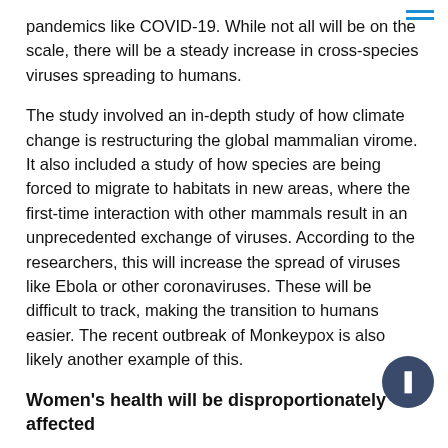pandemics like COVID-19. While not all will be on the scale, there will be a steady increase in cross-species viruses spreading to humans.
The study involved an in-depth study of how climate change is restructuring the global mammalian virome. It also included a study of how species are being forced to migrate to habitats in new areas, where the first-time interaction with other mammals result in an unprecedented exchange of viruses. According to the researchers, this will increase the spread of viruses like Ebola or other coronaviruses. These will be difficult to track, making the transition to humans easier. The recent outbreak of Monkeypox is also likely another example of this.
Women's health will be disproportionately affected
The sudden change in temperatures will increase the incidence of vector-borne diseases. This includes dengue fever, Zika virus, and malaria. These diseases affect reproductive health causing miscarriages, premature births